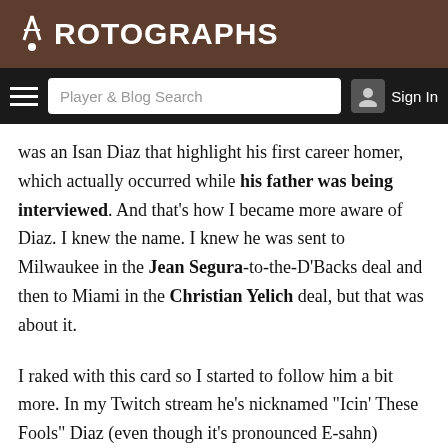ROTOGRAPHS
[Figure (screenshot): Navigation bar with hamburger menu, Player & Blog Search input, and Sign In button]
was an Isan Diaz that highlight his first career homer, which actually occurred while his father was being interviewed. And that’s how I became more aware of Diaz. I knew the name. I knew he was sent to Milwaukee in the Jean Segura-to-the-D’Backs deal and then to Miami in the Christian Yelich deal, but that was about it.
I raked with this card so I started to follow him a bit more. In my Twitch stream he’s nicknamed “Icin’ These Fools” Diaz (even though it’s pronounced E-sahn) because if you pitch to him, you’re gonna get iced. The exciting debut homer was about all